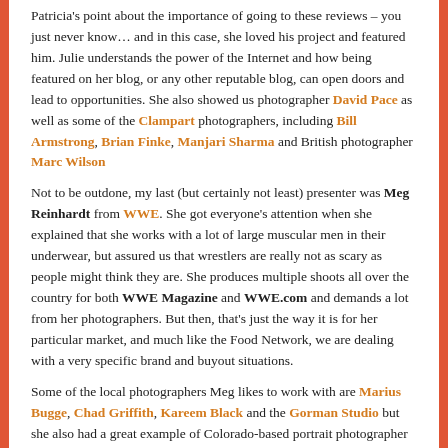Patricia's point about the importance of going to these reviews – you just never know… and in this case, she loved his project and featured him. Julie understands the power of the Internet and how being featured on her blog, or any other reputable blog, can open doors and lead to opportunities. She also showed us photographer David Pace as well as some of the Clampart photographers, including Bill Armstrong, Brian Finke, Manjari Sharma and British photographer Marc Wilson
Not to be outdone, my last (but certainly not least) presenter was Meg Reinhardt from WWE. She got everyone's attention when she explained that she works with a lot of large muscular men in their underwear, but assured us that wrestlers are really not as scary as people might think they are. She produces multiple shoots all over the country for both WWE Magazine and WWE.com and demands a lot from her photographers. But then, that's just the way it is for her particular market, and much like the Food Network, we are dealing with a very specific brand and buyout situations.
Some of the local photographers Meg likes to work with are Marius Bugge, Chad Griffith, Kareem Black and the Gorman Studio but she also had a great example of Colorado-based portrait photographer Marla Rutherford who has 2 websites, one for her commercial work, and the other CakeKnife Photography for weddings.